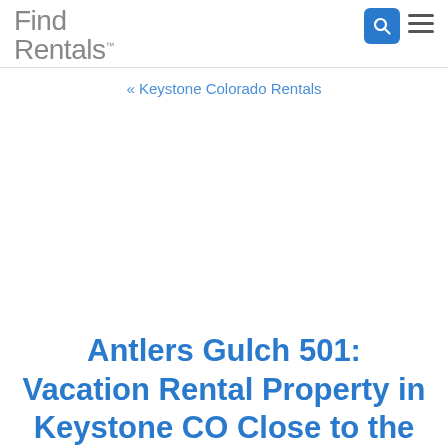Find Rentals.
« Keystone Colorado Rentals
Antlers Gulch 501: Vacation Rental Property in Keystone CO Close to the